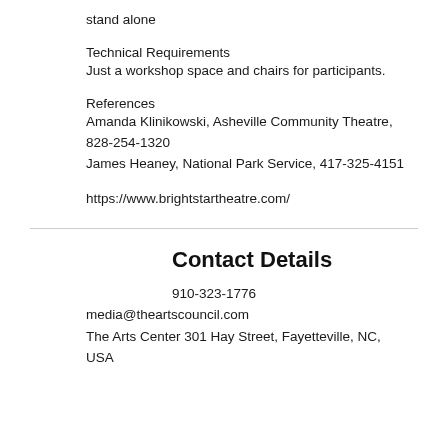stand alone
Technical Requirements
Just a workshop space and chairs for participants.
References
Amanda Klinikowski, Asheville Community Theatre, 828-254-1320
James Heaney, National Park Service, 417-325-4151
https://www.brightstartheatre.com/
Contact Details
910-323-1776
media@theartscouncil.com
The Arts Center 301 Hay Street, Fayetteville, NC, USA